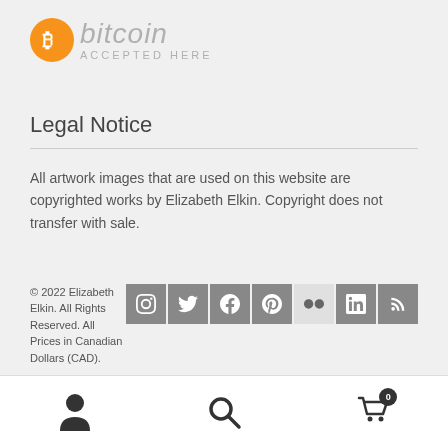[Figure (logo): Bitcoin Accepted Here logo with orange circle Bitcoin symbol and grey italic text]
Legal Notice
All artwork images that are used on this website are copyrighted works by Elizabeth Elkin. Copyright does not transfer with sale.
© 2022 Elizabeth Elkin. All Rights Reserved. All Prices in Canadian Dollars (CAD).
[Figure (illustration): Social media icons row: Instagram, Twitter, Facebook, Pinterest, Flickr, LinkedIn, RSS]
[Figure (illustration): Bottom navigation bar with user/account icon, search icon, and shopping cart icon with badge showing 0]